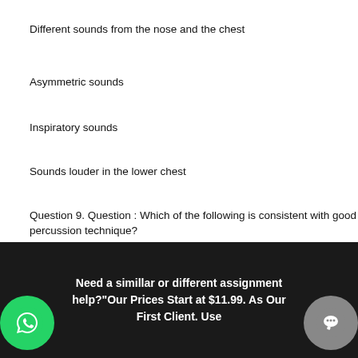Different sounds from the nose and the chest
Asymmetric sounds
Inspiratory sounds
Sounds louder in the lower chest
Question 9. Question : Which of the following is consistent with good percussion technique?
Allow all of the fingers to touch the chest while performing percussion.
Maintain a stiff wrist and hand.
Leave the plexor finger on the pleximeter after each strike.
Strike the pleximeter over the distal interphalangeal joint.
Need a simillar or different assignment help?"Our Prices Start at $11.99. As Our First Client. Use